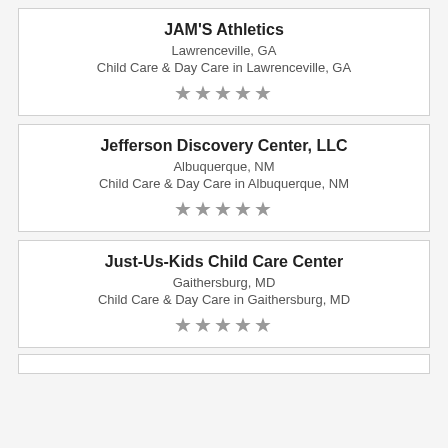JAM'S Athletics
Lawrenceville, GA
Child Care & Day Care in Lawrenceville, GA
[Figure (other): Five gray star rating icons]
Jefferson Discovery Center, LLC
Albuquerque, NM
Child Care & Day Care in Albuquerque, NM
[Figure (other): Five gray star rating icons]
Just-Us-Kids Child Care Center
Gaithersburg, MD
Child Care & Day Care in Gaithersburg, MD
[Figure (other): Five gray star rating icons]